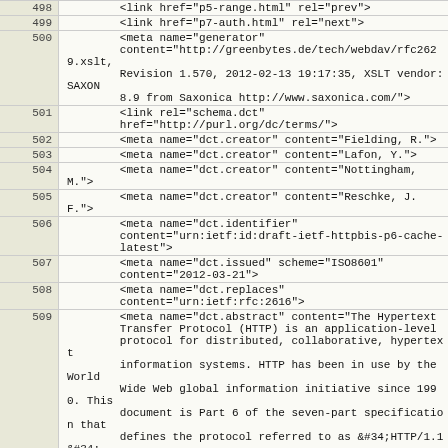| Line | Code |
| --- | --- |
| 498 |         <link href="p5-range.html" rel="prev"> |
| 499 |         <link href="p7-auth.html" rel="next"> |
| 500 |         <meta name="generator"
        content="http://greenbytes.de/tech/webdav/rfc2629.xslt,
        Revision 1.570, 2012-02-13 19:17:35, XSLT vendor: SAXON
        8.9 from Saxonica http://www.saxonica.com/"> |
| 501 |         <link rel="schema.dct"
        href="http://purl.org/dc/terms/"> |
| 502 |         <meta name="dct.creator" content="Fielding, R."> |
| 503 |         <meta name="dct.creator" content="Lafon, Y."> |
| 504 |         <meta name="dct.creator" content="Nottingham, M."> |
| 505 |         <meta name="dct.creator" content="Reschke, J. F."> |
| 506 |         <meta name="dct.identifier"
        content="urn:ietf:id:draft-ietf-httpbis-p6-cache-latest"> |
| 507 |         <meta name="dct.issued" scheme="ISO8601"
        content="2012-03-21"> |
| 508 |         <meta name="dct.replaces"
        content="urn:ietf:rfc:2616"> |
| 509 |         <meta name="dct.abstract" content="The Hypertext
        Transfer Protocol (HTTP) is an application-level
        protocol for distributed, collaborative, hypertext
        information systems. HTTP has been in use by the World
        Wide Web global information initiative since 1990. This
        document is Part 6 of the seven-part specification that
        defines the protocol referred to as &#34;HTTP/1.1&#34;
        and, taken together, obsoletes RFC 2616. Part 6 defines
        requirements on HTTP caches and the associated header
        fields that control cache behavior or indicate cacheable
        response messages."> |
| 510 |         <meta name="description" content="The Hypertext
        Transfer Protocol (HTTP) is an application-level
        protocol for distributed, collaborative, hypertext
        information systems. HTTP has been in use by the World
        Wide Web global information initiative since 1990. This |